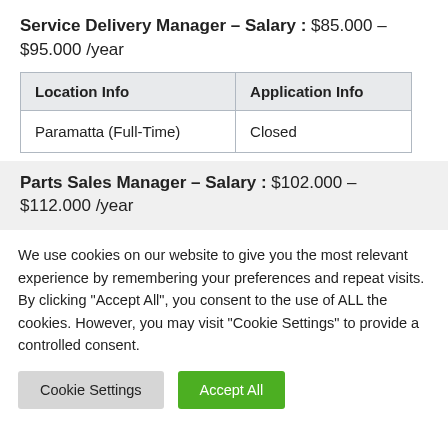Service Delivery Manager – Salary : $85.000 – $95.000 /year
| Location Info | Application Info |
| --- | --- |
| Paramatta (Full-Time) | Closed |
Parts Sales Manager – Salary : $102.000 – $112.000 /year
We use cookies on our website to give you the most relevant experience by remembering your preferences and repeat visits. By clicking "Accept All", you consent to the use of ALL the cookies. However, you may visit "Cookie Settings" to provide a controlled consent.